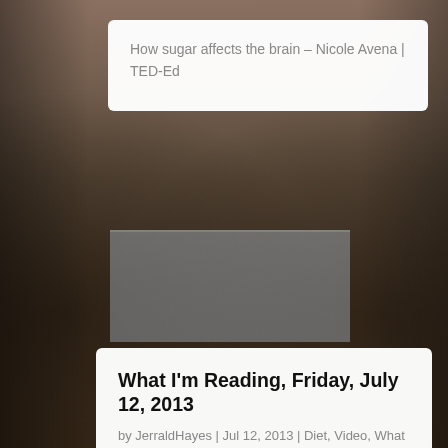[Figure (photo): Sepia-toned industrial background photograph showing machinery and windows in what appears to be a factory or warehouse]
How sugar affects the brain – Nicole Avena | TED-Ed
What I'm Reading, Friday, July 12, 2013
by JerraldHayes | Jul 12, 2013 | Diet, Video, What I'm Reading
On Diet... Sugar and Starch – YouTube Link between omega-3 fatty acids and increased prostate cancer risk confirmed (via Summer Tomato.com) Chronic Cardio is Still Unhealthy | Mark's Daily Apple Archevore – Archevore Blog – Jimmy Moore...